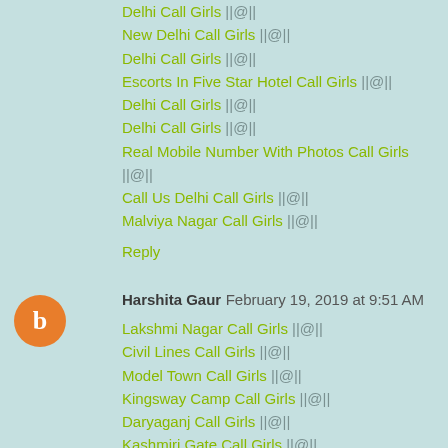Delhi Call Girls ||@||
New Delhi Call Girls ||@||
Delhi Call Girls ||@||
Escorts In Five Star Hotel Call Girls ||@||
Delhi Call Girls ||@||
Delhi Call Girls ||@||
Real Mobile Number With Photos Call Girls ||@||
Call Us Delhi Call Girls ||@||
Malviya Nagar Call Girls ||@||
Reply
Harshita Gaur  February 19, 2019 at 9:51 AM
Lakshmi Nagar Call Girls ||@||
Civil Lines Call Girls ||@||
Model Town Call Girls ||@||
Kingsway Camp Call Girls ||@||
Daryaganj Call Girls ||@||
Kashmiri Gate Call Girls ||@||
Delhi Gate Call Girls ||@||
Pitampura Call Girls ||@||
Rohini Call Girls ||@||